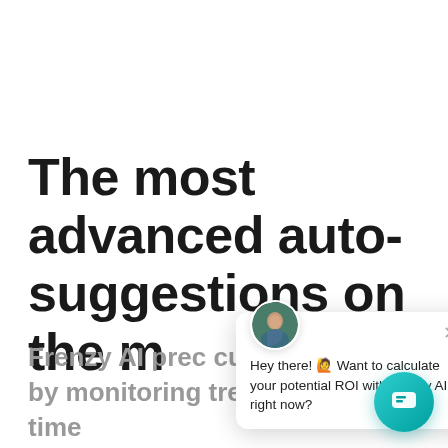The most advanced auto-suggestions on the m
Frenzy AI prec customers wa by monitoring trends and real-time behavior. Turn curiosity into sales with dynamic search boxes that
[Figure (screenshot): Chat popup overlay with avatar photo, close button, and message: Hey there! 🙋 Want to calculate your potential ROI with Frenzy AI right now?]
[Figure (other): Teal circular chat launcher button with chat icon]